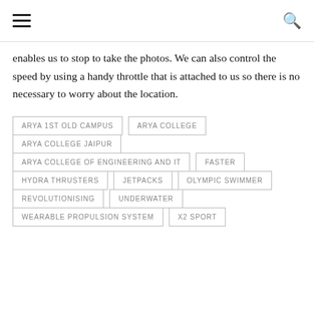enables us to stop to take the photos. We can also control the speed by using a handy throttle that is attached to us so there is no necessary to worry about the location.
ARYA 1ST OLD CAMPUS
ARYA COLLEGE
ARYA COLLEGE JAIPUR
ARYA COLLEGE OF ENGINEERING AND IT
FASTER
HYDRA THRUSTERS
JETPACKS
OLYMPIC SWIMMER
REVOLUTIONISING
UNDERWATER
WEARABLE PROPULSION SYSTEM
X2 SPORT